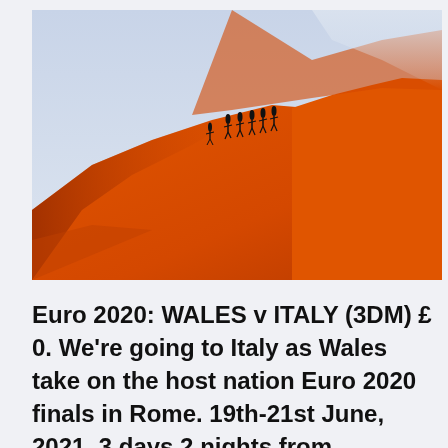[Figure (photo): A photograph of people silhouetted walking along the ridge of a large orange desert sand dune against a pale blue sky. The dune fills most of the frame with vivid orange-red sand.]
Euro 2020: WALES v ITALY (3DM) £ 0. We're going to Italy as Wales take on the host nation Euro 2020 finals in Rome. 19th-21st June, 2021. 3 days 2 nights from Manchester. Day